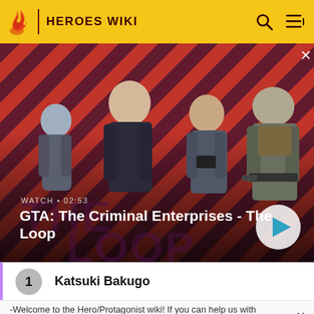HEROES WIKI
[Figure (screenshot): GTA: The Criminal Enterprises - The Loop video banner with four characters on a red striped background. Shows WATCH · 02:53 label and a play button.]
GTA: The Criminal Enterprises - The Loop
1  Katsuki Bakugo
-Welcome to the Hero/Protagonist wiki! If you can help us with this wiki please sign up and help us! Thanks! -M-NUva